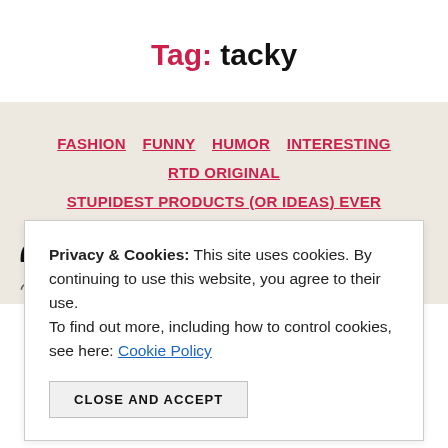Tag: tacky
FASHION  FUNNY  HUMOR  INTERESTING  RTD ORIGINAL  STUPIDEST PRODUCTS (OR IDEAS) EVER
Over 60 of The World's
Privacy & Cookies: This site uses cookies. By continuing to use this website, you agree to their use. To find out more, including how to control cookies, see here: Cookie Policy
CLOSE AND ACCEPT
By Jill  May 17, 2014  17 Comments